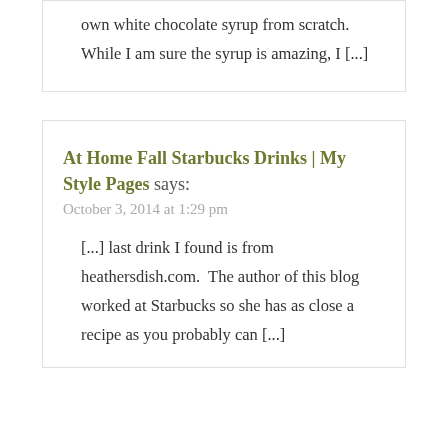own white chocolate syrup from scratch. While I am sure the syrup is amazing, I [...]
At Home Fall Starbucks Drinks | My Style Pages says:
October 3, 2014 at 1:29 pm
[...] last drink I found is from heathersdish.com.  The author of this blog worked at Starbucks so she has as close a recipe as you probably can [...]